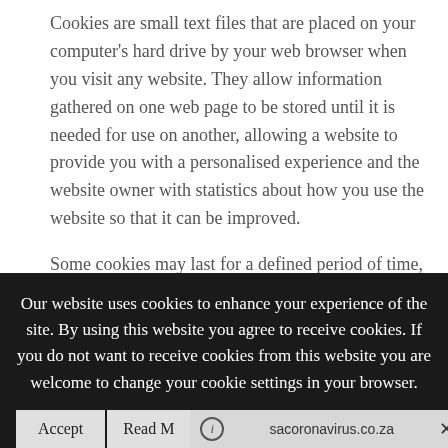Cookies are small text files that are placed on your computer's hard drive by your web browser when you visit any website. They allow information gathered on one web page to be stored until it is needed for use on another, allowing a website to provide you with a personalised experience and the website owner with statistics about how you use the website so that it can be improved.

Some cookies may last for a defined period of time, such as one day or until you close your browser. Others last indefinitely.
Our website uses cookies to enhance your experience of the site. By using this website you agree to receive cookies. If you do not want to receive cookies from this website you are welcome to change your cookie settings in your browser.